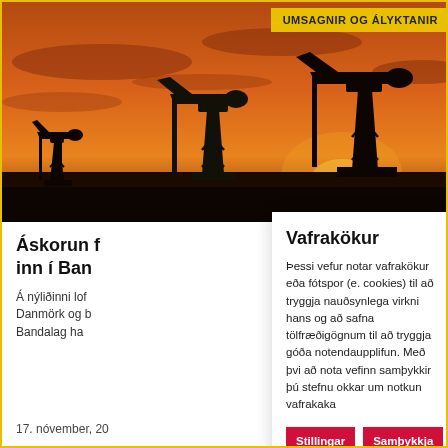[Figure (photo): Oil pump jacks silhouetted against a dramatic orange and red sunset sky]
UMSAGNIR OG ÁLYKTANIR
Áskorun f inn í Ban
Á nýliðinni lof Danmörk og b Bandalag ha
17. nóvember, 20
Vafrakökur
Þessi vefur notar vafrakökur eða fótspor (e. cookies) til að tryggja nauðsynlega virkni hans og að safna tölfræðigögnum til að tryggja góða notendaupplifun. Með þvi að nota vefinn samþykkir þú stefnu okkar um notkun vafrakaka
Stillingar
Samþykkja allar